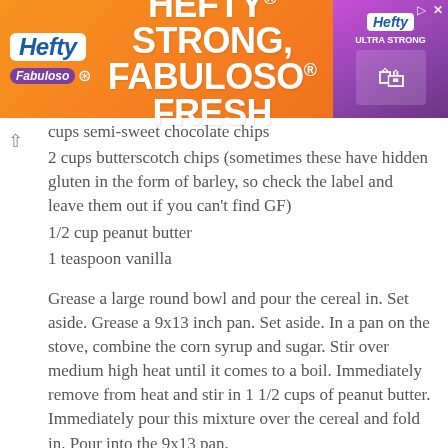[Figure (illustration): Hefty brand advertisement banner with orange background. Shows Hefty logo, Fabuloso logo, text 'HEFTY STRONG, FABULOSO FRESH' and product image on right side.]
cups semi-sweet chocolate chips
2 cups butterscotch chips (sometimes these have hidden gluten in the form of barley, so check the label and leave them out if you can't find GF)
1/2 cup peanut butter
1 teaspoon vanilla
Grease a large round bowl and pour the cereal in. Set aside. Grease a 9x13 inch pan. Set aside. In a pan on the stove, combine the corn syrup and sugar. Stir over medium high heat until it comes to a boil. Immediately remove from heat and stir in 1 1/2 cups of peanut butter. Immediately pour this mixture over the cereal and fold in. Pour into the 9x13 pan.
In a microwaveable 4 cup measuring cup (or other microwave save dish) combine the butterscotch chips, chocolate chips, 1/2 cup of peanut butter, and vanilla. Microwave for 30